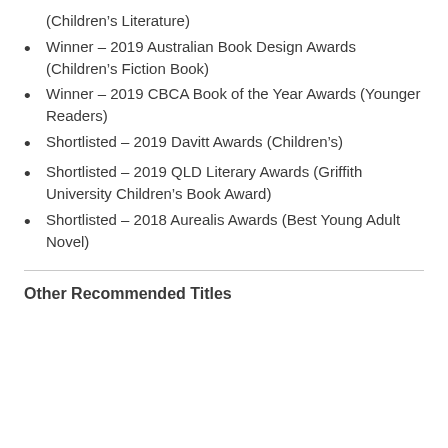(Children's Literature)
Winner – 2019 Australian Book Design Awards (Children's Fiction Book)
Winner – 2019 CBCA Book of the Year Awards (Younger Readers)
Shortlisted – 2019 Davitt Awards (Children's)
Shortlisted – 2019 QLD Literary Awards (Griffith University Children's Book Award)
Shortlisted – 2018 Aurealis Awards (Best Young Adult Novel)
Other Recommended Titles